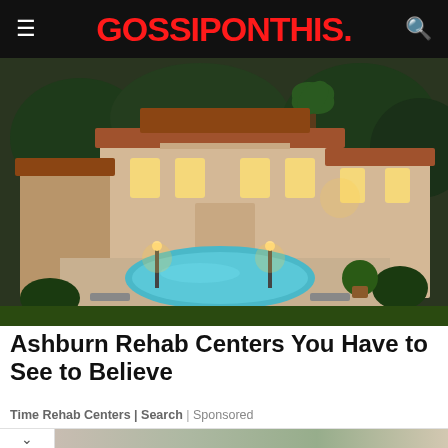GOSSIPONTHIS.
[Figure (photo): Aerial view of a large Mediterranean-style luxury mansion with a swimming pool, palm trees, outdoor seating areas, and lush landscaping at dusk/evening with lights illuminated.]
Ashburn Rehab Centers You Have to See to Believe
Time Rehab Centers | Search | Sponsored
[Figure (photo): Partial thumbnail strip showing a person and trees — second article preview.]
Clean Your Duct & Pipe Inside
Round/ball brush optional, clean every corner of rectangular and round ducts, order! Defy
Open